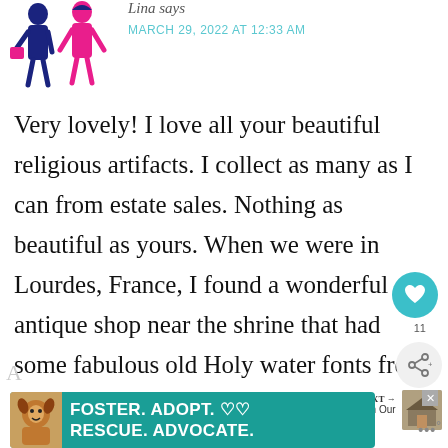[Figure (illustration): Blog avatar icon showing two stylized female figures with shopping bags, one in dark blue and one in pink/magenta, on white background]
Lina says
MARCH 29, 2022 AT 12:33 AM
Very lovely! I love all your beautiful religious artifacts. I collect as many as I can from estate sales. Nothing as beautiful as yours. When we were in Lourdes, France, I found a wonderful antique shop near the shrine that had some fabulous old Holy water fonts from the 30s and 40s.
[Figure (infographic): Like/heart button (teal circle with heart icon) with count 11, and share button below]
[Figure (infographic): WHAT'S NEXT arrow label with thumbnail image and text 'The Foyer in Our New...']
[Figure (infographic): Advertisement banner: FOSTER. ADOPT. RESCUE. ADVOCATE. with dog image on teal background]